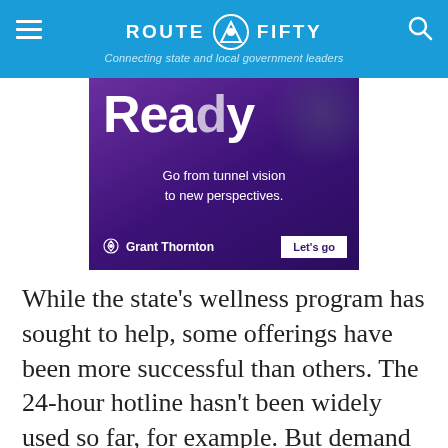ROUTE FIFTY — Connecting state and local government leaders
[Figure (photo): Grant Thornton advertisement on purple background reading 'Ready — Go from tunnel vision to new perspectives.' with a 'Let's go' button]
While the state's wellness program has sought to help, some offerings have been more successful than others. The 24-hour hotline hasn't been widely used so far, for example. But demand for counseling vouchers increased by 38% from 2019, and farmers have said that the option of